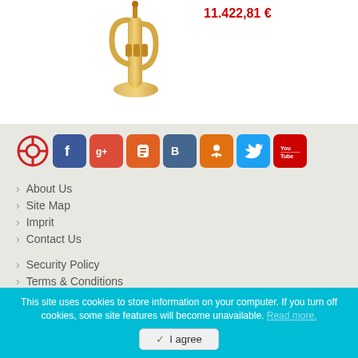[Figure (photo): Musical instrument - tuba/euphonium in gold/brass finish]
11.422,81 €
[Figure (infographic): Social media icons row: target/crosshair logo, Facebook, Google+, Blogger, VKontakte, Odnoklassniki, Twitter, YouTube]
About Us
Site Map
Imprit
Contact Us
Security Policy
Terms & Conditions
Return Dispatch
Power of Revocation
Shipping
Payment & Security
This site uses cookies to store information on your computer. If you turn off cookies, some site features will become unavailable. Read more.
I agree